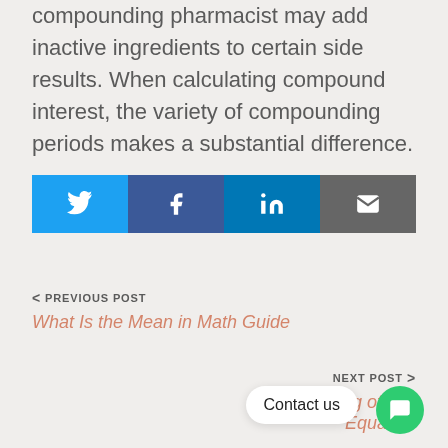compounding pharmacist may add inactive ingredients to certain side results. When calculating compound interest, the variety of compounding periods makes a substantial difference.
[Figure (infographic): Four social sharing buttons in a row: Twitter (blue), Facebook (dark blue), LinkedIn (blue), Email (grey), each with respective white icons.]
< PREVIOUS POST
What Is the Mean in Math Guide
NEXT POST >
The Meaning of ... in Equation
Contact us